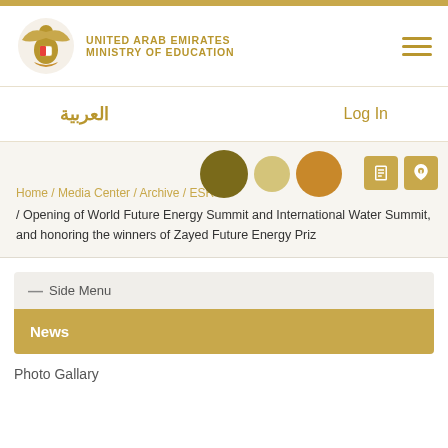UNITED ARAB EMIRATES MINISTRY OF EDUCATION
العربية   Log In
Home / Media Center / Archive / ESR / / Opening of World Future Energy Summit and International Water Summit, and honoring the winners of Zayed Future Energy Priz
— Side Menu
News
Photo Gallary